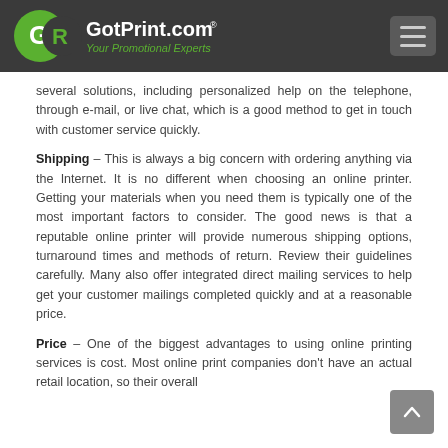GotPrint.com® — Your Promotional Experts
several solutions, including personalized help on the telephone, through e-mail, or live chat, which is a good method to get in touch with customer service quickly.
Shipping – This is always a big concern with ordering anything via the Internet. It is no different when choosing an online printer. Getting your materials when you need them is typically one of the most important factors to consider. The good news is that a reputable online printer will provide numerous shipping options, turnaround times and methods of return. Review their guidelines carefully. Many also offer integrated direct mailing services to help get your customer mailings completed quickly and at a reasonable price.
Price – One of the biggest advantages to using online printing services is cost. Most online print companies don't have an actual retail location, so their overall